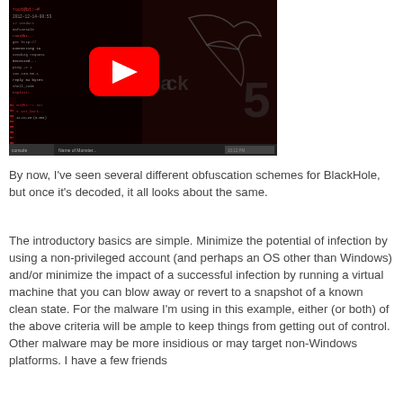[Figure (screenshot): A video thumbnail showing a terminal/hacking tool (BackTrack 5) with a red YouTube play button overlay in the center]
By now, I've seen several different obfuscation schemes for BlackHole, but once it's decoded, it all looks about the same.
The introductory basics are simple. Minimize the potential of infection by using a non-privileged account (and perhaps an OS other than Windows) and/or minimize the impact of a successful infection by running a virtual machine that you can blow away or revert to a snapshot of a known clean state. For the malware I'm using in this example, either (or both) of the above criteria will be ample to keep things from getting out of control. Other malware may be more insidious or may target non-Windows platforms. I have a few friends